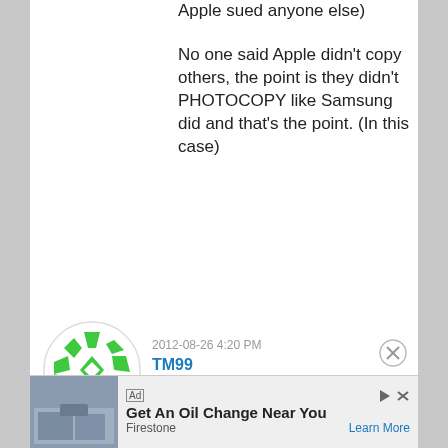Apple sued anyone else)
No one said Apple didn't copy others, the point is they didn't PHOTOCOPY like Samsung did and that's the point. (In this case)
[Figure (illustration): Green and white geometric avatar/logo in a circle for user TM99]
2012-08-26 4:20 PM
TM99
Then if Apple copied and it wasn't right let those companies sue Apple just the same. Nokia did. (They sued Apple before Apple sued anyone else)
No one said Apple didn't copy others, the
Ad  Get An Oil Change Near You  Firestone  Learn More